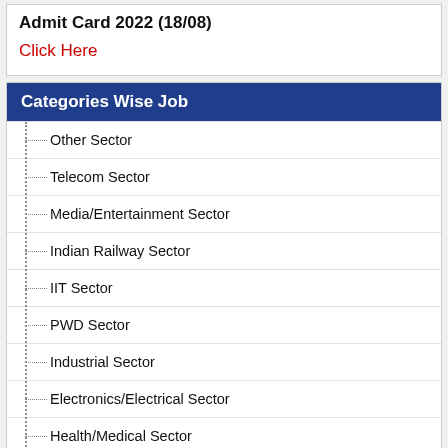Admit Card 2022 (18/08)
Click Here
Categories Wise Job
Other Sector
Telecom Sector
Media/Entertainment Sector
Indian Railway Sector
IIT Sector
PWD Sector
Industrial Sector
Electronics/Electrical Sector
Health/Medical Sector
Defence/Security Sector